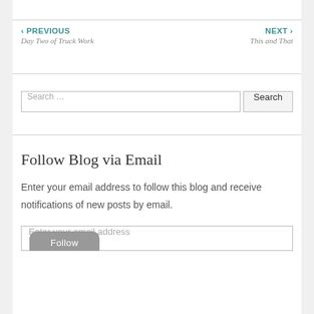‹ PREVIOUS
Day Two of Truck Work
NEXT ›
This and That
Search …
Follow Blog via Email
Enter your email address to follow this blog and receive notifications of new posts by email.
Enter your email address
Follow